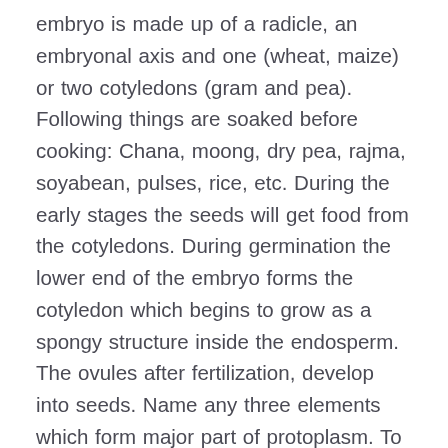embryo is made up of a radicle, an embryonal axis and one (wheat, maize) or two cotyledons (gram and pea). Following things are soaked before cooking: Chana, moong, dry pea, rajma, soyabean, pulses, rice, etc. During the early stages the seeds will get food from the cotyledons. During germination the lower end of the embryo forms the cotyledon which begins to grow as a spongy structure inside the endosperm. The ovules after fertilization, develop into seeds. Name any three elements which form major part of protoplasm. To learn more about the process of germination, let's take a look inside a seed… The parts of a seed What is the significance of transpiration? NCERT Solutions for Class 5 EVS Seeds and Seeds book solutions are available in PDF format for free download. Article by Education.com. Draw diagrams